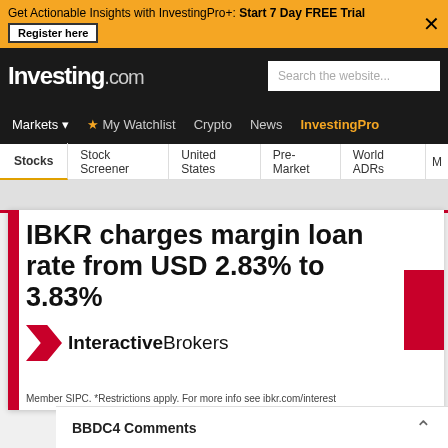Get Actionable Insights with InvestingPro+: Start 7 Day FREE Trial  Register here
[Figure (screenshot): Investing.com logo and navigation bar with search box]
Markets  My Watchlist  Crypto  News  InvestingPro
Stocks  Stock Screener  United States  Pre-Market  World ADRs  M
[Figure (illustration): Interactive Brokers advertisement: IBKR charges margin loan rates from USD 2.83% to 3.83%. Interactive Brokers logo. Member SIPC. *Restrictions apply. For more info see ibkr.com/interest]
BBDC4 Comments